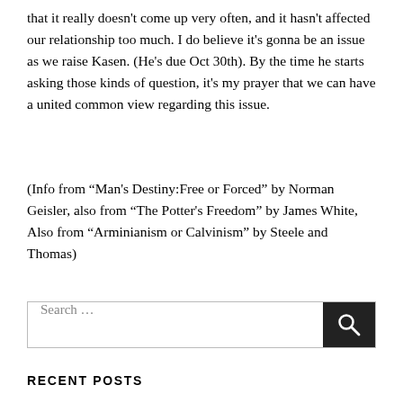that it really doesn't come up very often, and it hasn't affected our relationship too much. I do believe it's gonna be an issue as we raise Kasen. (He's due Oct 30th). By the time he starts asking those kinds of question, it's my prayer that we can have a united common view regarding this issue.
(Info from “Man's Destiny:Free or Forced” by Norman Geisler, also from “The Potter's Freedom” by James White, Also from “Arminianism or Calvinism” by Steele and Thomas)
Search ...
RECENT POSTS